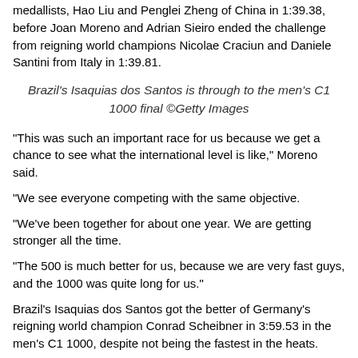medallists, Hao Liu and Penglei Zheng of China in 1:39.38, before Joan Moreno and Adrian Sieiro ended the challenge from reigning world champions Nicolae Craciun and Daniele Santini from Italy in 1:39.81.
Brazil's Isaquias dos Santos is through to the men's C1 1000 final ©Getty Images
"This was such an important race for us because we get a chance to see what the international level is like," Moreno said.
"We see everyone competing with the same objective.
"We've been together for about one year. We are getting stronger all the time.
"The 500 is much better for us, because we are very fast guys, and the 1000 was quite long for us."
Brazil's Isaquias dos Santos got the better of Germany's reigning world champion Conrad Scheibner in 3:59.53 in the men's C1 1000, despite not being the fastest in the heats.
In the men's K1 1000, Italy's K2 partners Samuele Burgo in 3:32.15 and Andrea Schera in 3:31.51, won their respective semi-finals to